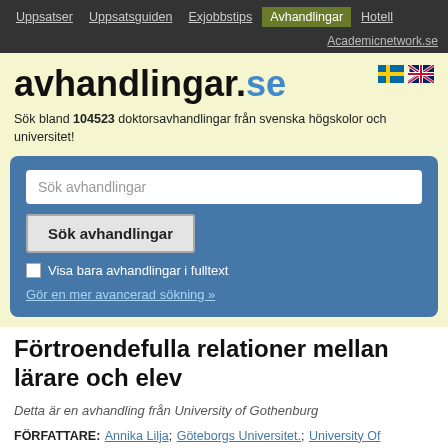Uppsatser  Uppsatsguiden  Exjobbstips  Avhandlingar  Hotell  Academicnetwork.se
avhandlingar.se
Sök bland 104523 doktorsavhandlingar från svenska högskolor och universitet!
[Figure (screenshot): Search box with placeholder text 'Sök avhandlingar', a button 'Sök avhandlingar', a checkbox 'Visa bara avhandlingar i fulltext', and a link 'Gör en mer avancerad sökning »']
Förtroendefulla relationer mellan lärare och elev
Detta är en avhandling från University of Gothenburg
FÖRFATTARE: Annika Lilja; Göteborgs Universitet.; University Of